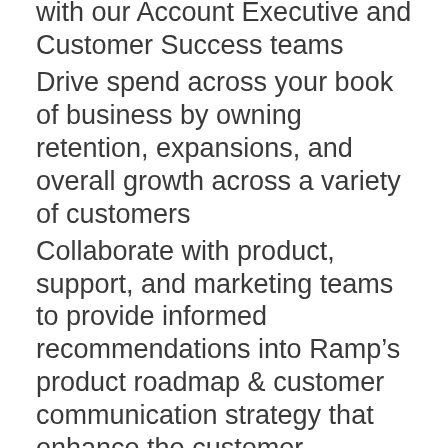with our Account Executive and Customer Success teams
Drive spend across your book of business by owning retention, expansions, and overall growth across a variety of customers
Collaborate with product, support, and marketing teams to provide informed recommendations into Ramp’s product roadmap & customer communication strategy that enhance the customer experience and drive efficiencies throughout the account lifecycle
What You Need
Minimum 2 years of account management experience in a B2B organization
Ability to anticipate customers’ needs to identify growth opportunities across various types of accounts
Organizational, project management, and time